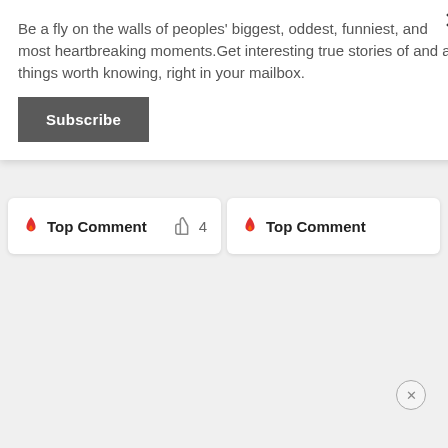Be a fly on the walls of peoples' biggest, oddest, funniest, and most heartbreaking moments.Get interesting true stories of and all things worth knowing, right in your mailbox.
Subscribe
🔥 Top Comment   👍 4
🔥 Top Comment
[Figure (screenshot): Advertisement banner with text: Lose the trolls. Keep the comments.]